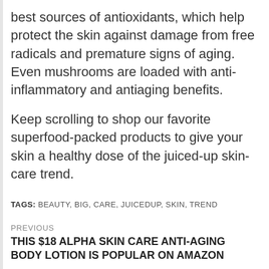best sources of antioxidants, which help protect the skin against damage from free radicals and premature signs of aging. Even mushrooms are loaded with anti-inflammatory and antiaging benefits.
Keep scrolling to shop our favorite superfood-packed products to give your skin a healthy dose of the juiced-up skin-care trend.
TAGS: BEAUTY, BIG, CARE, JUICEDUP, SKIN, TREND
PREVIOUS
THIS $18 ALPHA SKIN CARE ANTI-AGING BODY LOTION IS POPULAR ON AMAZON
THE MOST EXCITING NEW SKIN-CARE PRODUCTS ARRIVING IN MARCH 2021